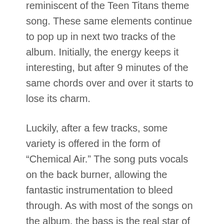reminiscent of the Teen Titans theme song. These same elements continue to pop up in next two tracks of the album. Initially, the energy keeps it interesting, but after 9 minutes of the same chords over and over it starts to lose its charm.
Luckily, after a few tracks, some variety is offered in the form of “Chemical Air.” The song puts vocals on the back burner, allowing the fantastic instrumentation to bleed through. As with most of the songs on the album, the bass is the real star of the show, driving away and keeping the listener locked in. An unfamiliar guitar solo soars near the end that takes the band into a more precise backing beat, making “Chemical Air” the most dynamic song on the album.
From here, the album begins to dip back into the same